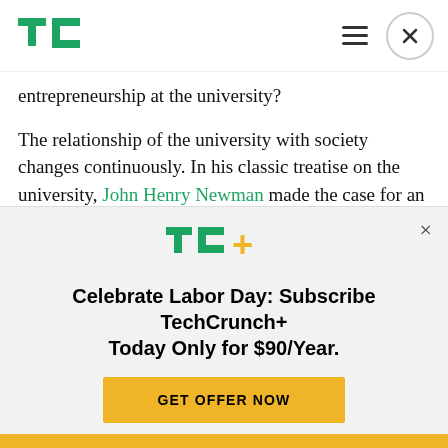TechCrunch
entrepreneurship at the university?
The relationship of the university with society changes continuously. In his classic treatise on the university, John Henry Newman made the case for an educational mission; more particularly, liberal education. The rise of the research university, first in Germany and later in America, provided another
[Figure (logo): TechCrunch+ logo with TC+ text in green and yellow]
Celebrate Labor Day: Subscribe TechCrunch+ Today Only for $90/Year.
GET OFFER NOW